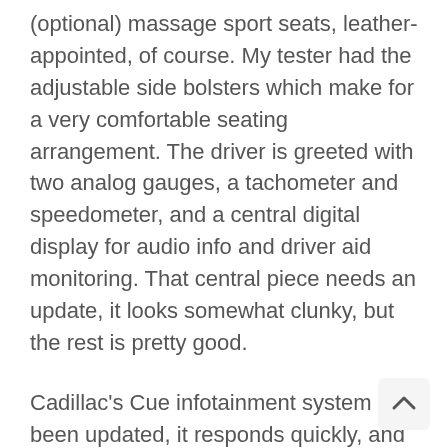(optional) massage sport seats, leather-appointed, of course. My tester had the adjustable side bolsters which make for a very comfortable seating arrangement. The driver is greeted with two analog gauges, a tachometer and speedometer, and a central digital display for audio info and driver aid monitoring. That central piece needs an update, it looks somewhat clunky, but the rest is pretty good.
Cadillac's Cue infotainment system has been updated, it responds quickly, and menus are clearly marked and easily scrolled through. Apple CarPlay and Android Auto are standard the Caddy's infotainment is much easier to use now that physical buttons and knobs are available for the touch screen challenged.
Most of the interior, which is a mixture of wood, aluminum, and/or carbon fiber gives it a sense of luxury, however, it's quite up to Audi levels yet, some harder plastics reside belo...